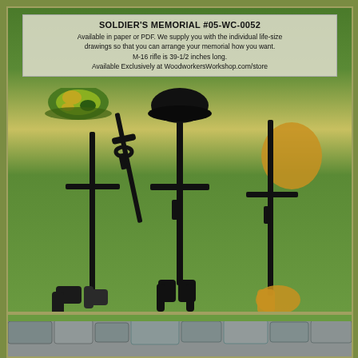SOLDIER'S MEMORIAL #05-WC-0052
Available in paper or PDF. We supply you with the individual life-size drawings so that you can arrange your memorial how you want. M-16 rifle is 39-1/2 inches long. Available Exclusively at WoodworkersWorkshop.com/store
[Figure (illustration): Soldier's memorial outdoor display showing three rifle-and-helmet battlefield cross silhouettes planted in grass, each with boots at the base. Left silhouette has a camouflage helmet (green/yellow). Center has a black military helmet. Right has an orange/honey-colored silhouette. Background is a garden/grass setting with trees.]
[Figure (photo): Bottom strip showing a stone wall or rock surface, partially visible, with green grass at the top edge.]